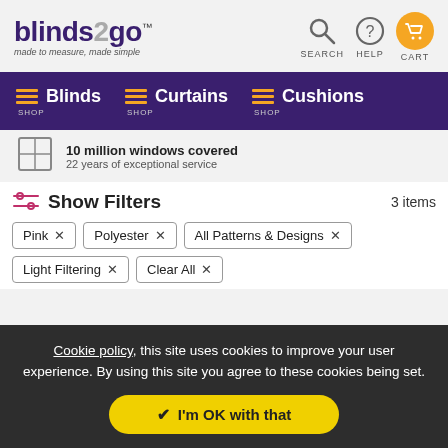[Figure (logo): Blinds2go logo with tagline 'made to measure, made simple']
[Figure (infographic): Navigation bar with Blinds, Curtains, Cushions shop links on purple background]
10 million windows covered
22 years of exceptional service
Show Filters
3 items
Pink ×
Polyester ×
All Patterns & Designs ×
Light Filtering ×
Clear All ×
Cookie policy, this site uses cookies to improve your user experience. By using this site you agree to these cookies being set.